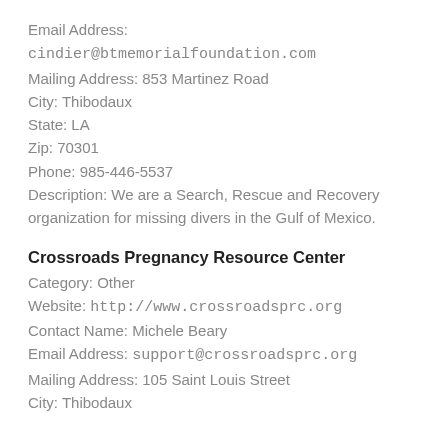Email Address: cindier@btmemorialfoundation.com
Mailing Address: 853 Martinez Road
City: Thibodaux
State: LA
Zip: 70301
Phone: 985-446-5537
Description: We are a Search, Rescue and Recovery organization for missing divers in the Gulf of Mexico.
Crossroads Pregnancy Resource Center
Category: Other
Website: http://www.crossroadsprc.org
Contact Name: Michele Beary
Email Address: support@crossroadsprc.org
Mailing Address: 105 Saint Louis Street
City: Thibodaux